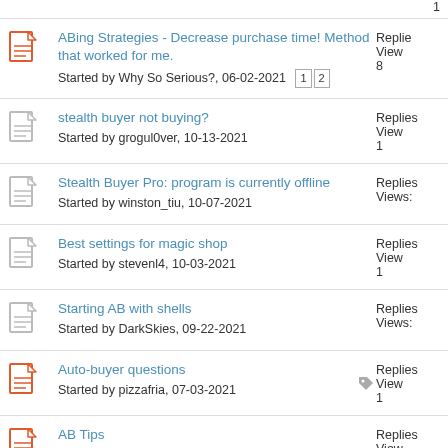1
ABing Strategies - Decrease purchase time! Method that worked for me. Started by Why So Serious?, 06-02-2021 [1][2] Replies Views: 8
stealth buyer not buying? Started by grogul0ver, 10-13-2021 Replies Views: 1
Stealth Buyer Pro: program is currently offline Started by winston_tiu, 10-07-2021 Replies Views:
Best settings for magic shop Started by stevenl4, 10-03-2021 Replies Views: 1
Starting AB with shells Started by DarkSkies, 09-22-2021 Replies Views:
Auto-buyer questions Started by pizzafria, 07-03-2021 Replies Views: 1
AB Tips Started by eusoudenis, 05-05-2021 Replies Views: